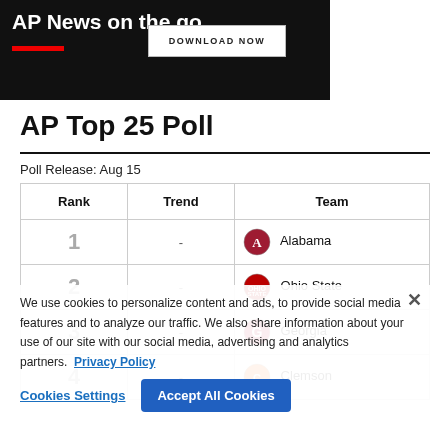[Figure (screenshot): AP News on the go banner ad with DOWNLOAD NOW button on dark background]
AP Top 25 Poll
Poll Release: Aug 15
| Rank | Trend | Team |
| --- | --- | --- |
| 1 | - | Alabama |
| 2 | - | Ohio State |
| 3 | - | Georgia |
| 4 | - | Clemson |
We use cookies to personalize content and ads, to provide social media features and to analyze our traffic. We also share information about your use of our site with our social media, advertising and analytics partners. Privacy Policy
Cookies Settings   Accept All Cookies